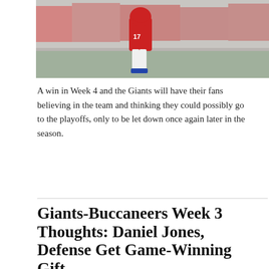[Figure (photo): Sports photo showing a football player (in red uniform) on the field, cropped to show lower body, with crowd/stadium in background]
A win in Week 4 and the Giants will have their fans believing in the team and thinking they could possibly go to the playoffs, only to be let down once again later in the season.
Giants-Buccaneers Week 3 Thoughts: Daniel Jones, Defense Get Game-Winning Gift
Sep 23, 2019  Blogs, Giants
The Giants might really have their next franchise quarterback on their hands.